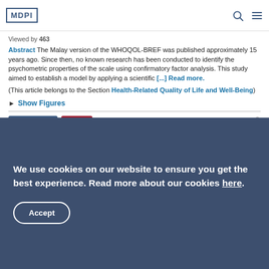MDPI
Viewed by 463
Abstract The Malay version of the WHOQOL-BREF was published approximately 15 years ago. Since then, no known research has been conducted to identify the psychometric properties of the scale using confirmatory factor analysis. This study aimed to establish a model by applying a scientific [...] Read more.
(This article belongs to the Section Health-Related Quality of Life and Well-Being)
► Show Figures
Open Access  Review
We use cookies on our website to ensure you get the best experience. Read more about our cookies here.
Accept